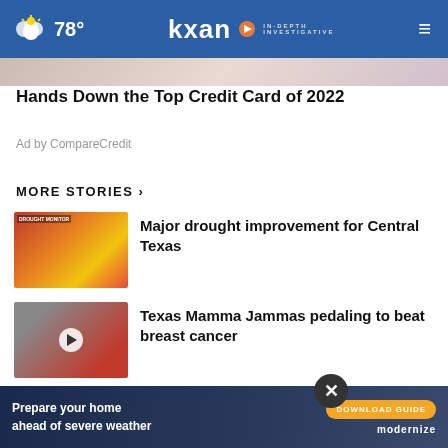78° kxan IN-DEPTH INVESTIGATIVE
Hands Down the Top Credit Card of 2022
Ad by CompareCredit
MORE STORIES ›
[Figure (photo): Drought map thumbnail showing Central Texas region]
Major drought improvement for Central Texas
[Figure (photo): Pink bus - Texas Mamma Jammas charity ride]
Texas Mamma Jammas pedaling to beat breast cancer
[Figure (photo): Austin skyline buildings]
QUIZ: Can you name these Austin buildings and towers?
[Figure (photo): Video thumbnail - last story]
...tin's
[Figure (infographic): Bottom ad banner: Prepare your home ahead of severe weather - DOWNLOAD GUIDE - modernize]